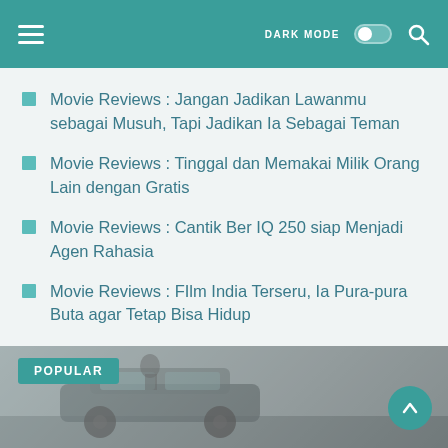DARK MODE [toggle] [search icon]
Movie Reviews : Jangan Jadikan Lawanmu sebagai Musuh, Tapi Jadikan Ia Sebagai Teman
Movie Reviews : Tinggal dan Memakai Milik Orang Lain dengan Gratis
Movie Reviews : Cantik Ber IQ 250 siap Menjadi Agen Rahasia
Movie Reviews : FIlm India Terseru, Ia Pura-pura Buta agar Tetap Bisa Hidup
Movie Reviews : Superhero Cilik Pembela Kebenaran
[Figure (photo): Popular section with a car image in the background, a teal POPULAR badge in the top-left, and a teal circular back-to-top FAB button on the right.]